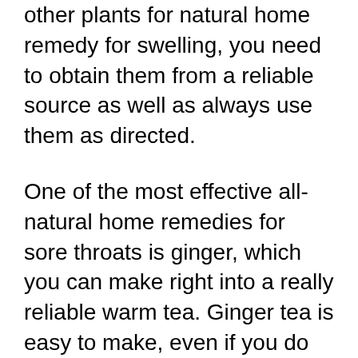remember, though, that if you use herbs or other plants for natural home remedy for swelling, you need to obtain them from a reliable source as well as always use them as directed.
One of the most effective all-natural home remedies for sore throats is ginger, which you can make right into a really reliable warm tea. Ginger tea is easy to make, even if you do not live in the country where ginger expands. All you require is fresh ginger root, some sugar, hot water, as well as a teaspoon of cinnamon powder. The more you use the cinnamon powder, the sweeter and also hotter the tea will end up being. This tea can be a powerful all-natural anti-inflammatory and can be used on its own or as a delicious addition to your favorite drink.